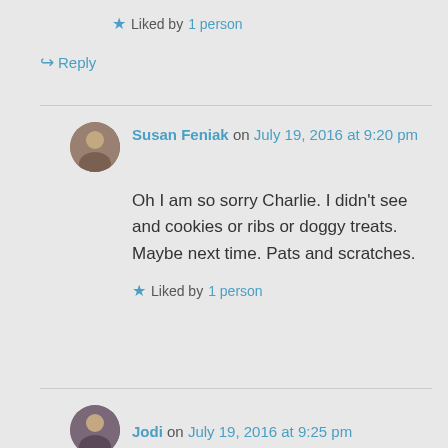★ Liked by 1 person
↪ Reply
Susan Feniak on July 19, 2016 at 9:20 pm
Oh I am so sorry Charlie. I didn't see and cookies or ribs or doggy treats. Maybe next time. Pats and scratches.
★ Liked by 1 person
Jodi on July 19, 2016 at 9:25 pm